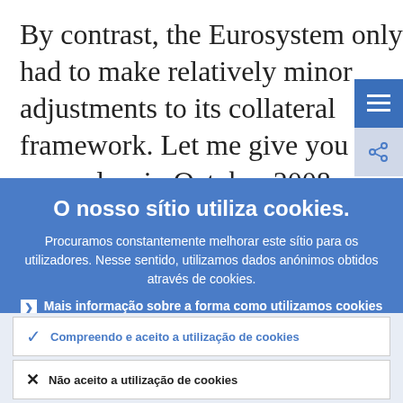By contrast, the Eurosystem only had to make relatively minor adjustments to its collateral framework. Let me give you two examples: in October 2008, we started to
O nosso sítio utiliza cookies.
Procuramos constantemente melhorar este sítio para os utilizadores. Nesse sentido, utilizamos dados anónimos obtidos através de cookies.
Mais informação sobre a forma como utilizamos cookies
Compreendo e aceito a utilização de cookies
Não aceito a utilização de cookies